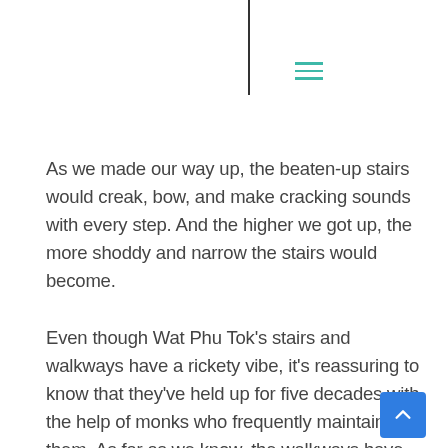As we made our way up, the beaten-up stairs would creak, bow, and make cracking sounds with every step. And the higher we got up, the more shoddy and narrow the stairs would become.
Even though Wat Phu Tok's stairs and walkways have a rickety vibe, it's reassuring to know that they've held up for five decades with the help of monks who frequently maintain them. As far as we know, the walkways have never collapsed with anyone on them.